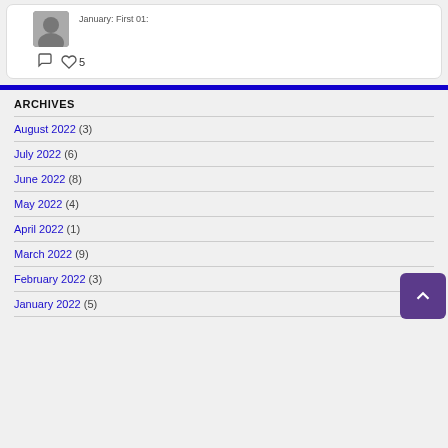[Figure (screenshot): Top card with avatar image (grayscale person photo), partial date text 'January: First 01:', comment icon, heart icon with count 5]
ARCHIVES
August 2022 (3)
July 2022 (6)
June 2022 (8)
May 2022 (4)
April 2022 (1)
March 2022 (9)
February 2022 (3)
January 2022 (5)